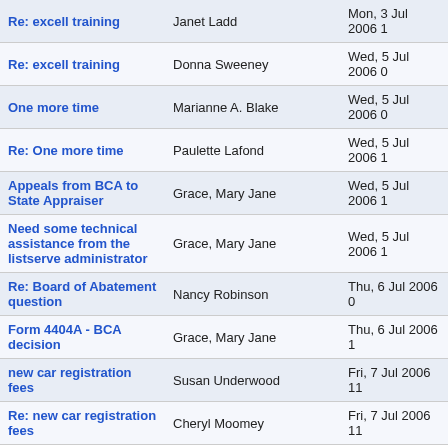| Subject | Sender | Date |
| --- | --- | --- |
| Re: excell training | Janet Ladd | Mon, 3 Jul 2006 1 |
| Re: excell training | Donna Sweeney | Wed, 5 Jul 2006 0 |
| One more time | Marianne A. Blake | Wed, 5 Jul 2006 0 |
| Re: One more time | Paulette Lafond | Wed, 5 Jul 2006 1 |
| Appeals from BCA to State Appraiser | Grace, Mary Jane | Wed, 5 Jul 2006 1 |
| Need some technical assistance from the listserve administrator | Grace, Mary Jane | Wed, 5 Jul 2006 1 |
| Re: Board of Abatement question | Nancy Robinson | Thu, 6 Jul 2006 0 |
| Form 4404A - BCA decision | Grace, Mary Jane | Thu, 6 Jul 2006 1 |
| new car registration fees | Susan Underwood | Fri, 7 Jul 2006 11 |
| Re: new car registration fees | Cheryl Moomey | Fri, 7 Jul 2006 11 |